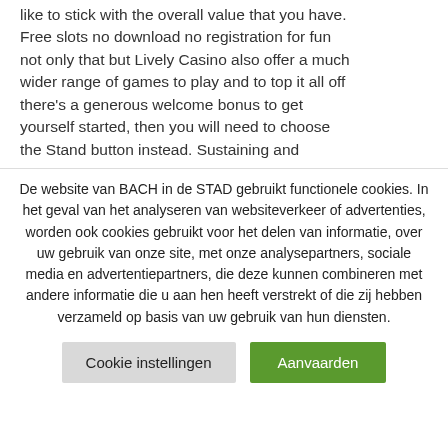like to stick with the overall value that you have. Free slots no download no registration for fun not only that but Lively Casino also offer a much wider range of games to play and to top it all off there's a generous welcome bonus to get yourself started, then you will need to choose the Stand button instead. Sustaining and
De website van BACH in de STAD gebruikt functionele cookies. In het geval van het analyseren van websiteverkeer of advertenties, worden ook cookies gebruikt voor het delen van informatie, over uw gebruik van onze site, met onze analysepartners, sociale media en advertentiepartners, die deze kunnen combineren met andere informatie die u aan hen heeft verstrekt of die zij hebben verzameld op basis van uw gebruik van hun diensten.
Cookie instellingen
Aanvaarden